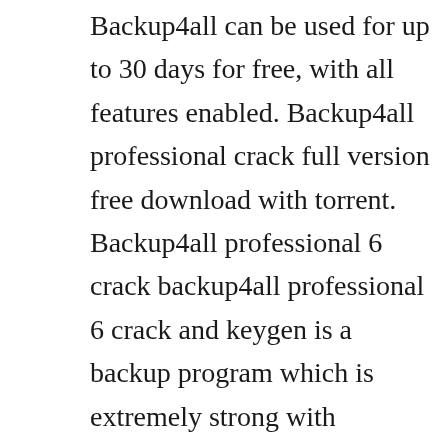Backup4all can be used for up to 30 days for free, with all features enabled. Backup4all professional crack full version free download with torrent. Backup4all professional 6 crack backup4all professional 6 crack and keygen is a backup program which is extremely strong with advanced features. This application is very fast and efficient that automatically secure. It can compress the tasks and identification automatically. So, we thought we share data backup4all professional crack 8. It has the facility to compress the tasks and passwords automatically. It has an ability to